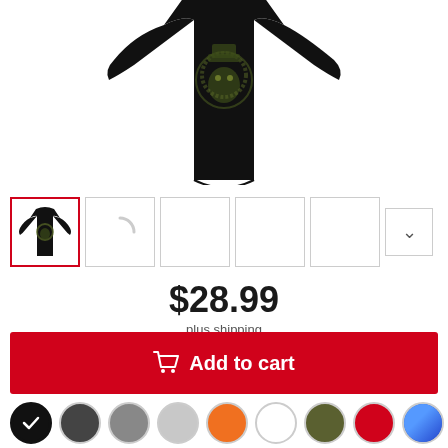[Figure (photo): Black t-shirt product photo viewed from front, with a lion/animal graphic on the chest area]
[Figure (photo): Thumbnail gallery row with 5 product image thumbnails and a chevron navigation button. First thumbnail selected (red border) shows black t-shirt.]
$28.99
plus shipping
Add to cart
Color: black
S  M  L  XL  2XL  3XL